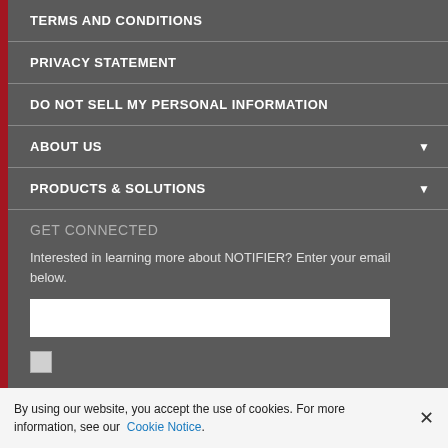TERMS AND CONDITIONS
PRIVACY STATEMENT
DO NOT SELL MY PERSONAL INFORMATION
ABOUT US
PRODUCTS & SOLUTIONS
GET CONNECTED
Interested in learning more about NOTIFIER? Enter your email below.
By using our website, you accept the use of cookies. For more information, see our Cookie Notice.